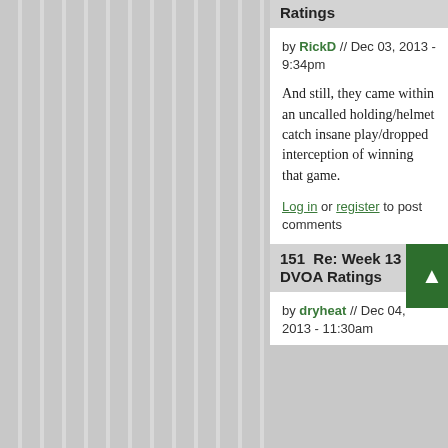Ratings
by RickD // Dec 03, 2013 - 9:34pm
And still, they came within an uncalled holding/helmet catch insane play/dropped interception of winning that game.
Log in or register to post comments
151  Re: Week 13 DVOA Ratings
by dryheat // Dec 04, 2013 - 11:30am